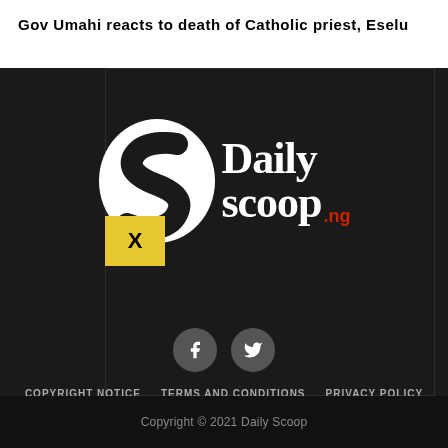Gov Umahi reacts to death of Catholic priest, Eselu
[Figure (logo): Daily Scoop .ng logo on dark background with large white S letter graphic and social media icons (Facebook, Twitter), navigation links: COPYRIGHT NOTICE, TERMS AND CONDITIONS, PRIVACY POLICY, CONTACT US, ABOUT US]
Copyright © 2021 Daily Scoop